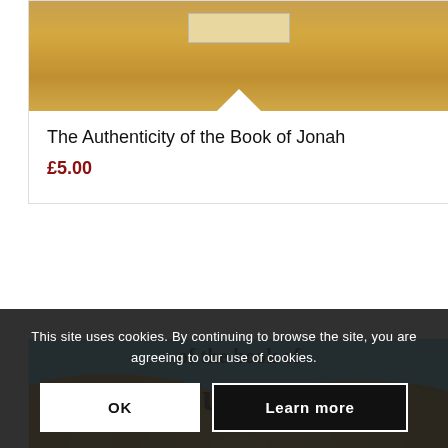[Figure (photo): Top portion of a book cover with wooden/sandy texture background and a small label]
The Authenticity of the Book of Jonah
£5.00
[Figure (photo): Book cover with desert dunes background and sky, text reading 'of the book of Judges']
This site uses cookies. By continuing to browse the site, you are agreeing to our use of cookies.